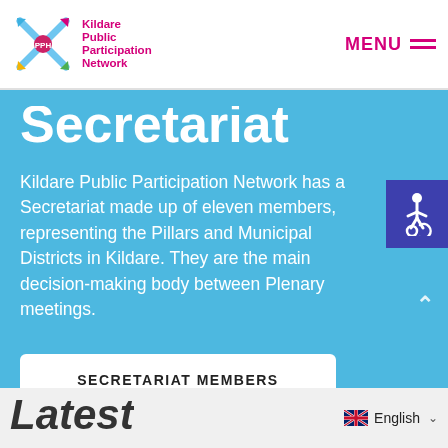Kildare Public Participation Network — MENU
Secretariat
Kildare Public Participation Network has a Secretariat made up of eleven members, representing the Pillars and Municipal Districts in Kildare. They are the main decision-making body between Plenary meetings.
SECRETARIAT MEMBERS
English